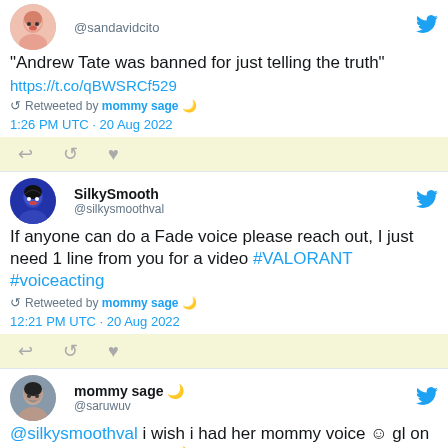@sandavidcito
"Andrew Tate was banned for just telling the truth"
https://t.co/qBWSRCf529
Retweeted by mommy sage 🌙
1:26 PM UTC · 20 Aug 2022
SilkySmooth @silkysmoothval
If anyone can do a Fade voice please reach out, I just need 1 line from you for a video #VALORANT #voiceacting
Retweeted by mommy sage 🌙
12:21 PM UTC · 20 Aug 2022
mommy sage 🌙 @saruwuv
@silkysmoothval i wish i had her mommy voice ☺ gl on finding someone tho 🌙
12:21 PM UTC · 20 Aug 2022